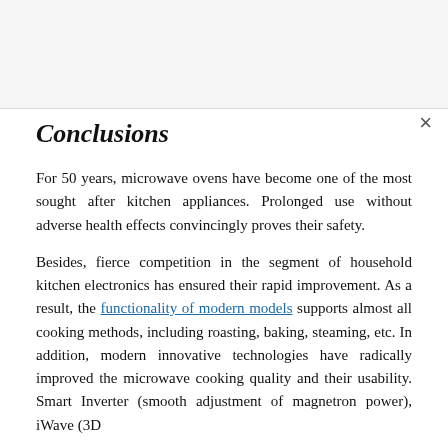Conclusions
For 50 years, microwave ovens have become one of the most sought after kitchen appliances. Prolonged use without adverse health effects convincingly proves their safety.
Besides, fierce competition in the segment of household kitchen electronics has ensured their rapid improvement. As a result, the functionality of modern models supports almost all cooking methods, including roasting, baking, steaming, etc. In addition, modern innovative technologies have radically improved the microwave cooking quality and their usability. Smart Inverter (smooth adjustment of magnetron power), iWave (3D